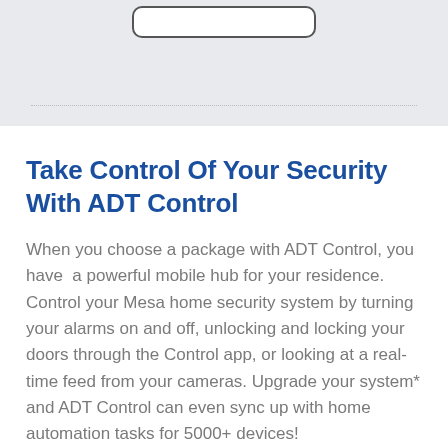[Figure (screenshot): Top banner with light gray background showing a partial phone UI element (rounded rectangle) and a dotted horizontal divider line below it.]
Take Control Of Your Security With ADT Control
When you choose a package with ADT Control, you have  a powerful mobile hub for your residence. Control your Mesa home security system by turning your alarms on and off, unlocking and locking your doors through the Control app, or looking at a real-time feed from your cameras. Upgrade your system* and ADT Control can even sync up with home automation tasks for 5000+ devices!